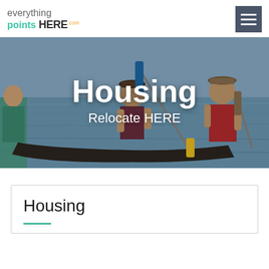[Figure (logo): everythingpointsHERE.com logo with teal and dark text]
[Figure (photo): Two men paddling canoes on a lake, one wearing a red life vest and one in a dark shirt with a hat. A paddle with blue and yellow coloring is visible. Text overlay reads 'Housing' and 'Relocate HERE'.]
Housing
Relocate HERE
Housing